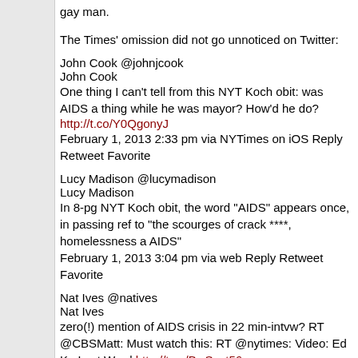gay man.
The Times' omission did not go unnoticed on Twitter:
John Cook @johnjcook
John Cook
One thing I can't tell from this NYT Koch obit: was AIDS a thing while he was mayor? How'd he do?
http://t.co/Y0QgonyJ
February 1, 2013 2:33 pm via NYTimes on iOS Reply Retweet Favorite
Lucy Madison @lucymadison
Lucy Madison
In 8-pg NYT Koch obit, the word "AIDS" appears once, in passing ref to "the scourges of crack ****, homelessness and AIDS"
February 1, 2013 3:04 pm via web Reply Retweet Favorite
Nat Ives @natives
Nat Ives
zero(!) mention of AIDS crisis in 22 min-intvw? RT @CBSMatt: Must watch this: RT @nytimes: Video: Ed Ko Last Word http://t.co/BwSypt56
February 1, 2013 2:08 pm via TweetDeck Reply Retweet Favorite